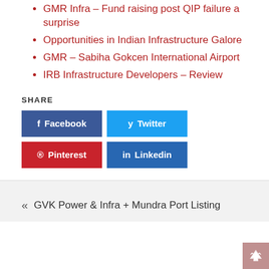GMR Infra – Fund raising post QIP failure a surprise
Opportunities in Indian Infrastructure Galore
GMR – Sabiha Gokcen International Airport
IRB Infrastructure Developers – Review
SHARE
Facebook | Twitter | Pinterest | Linkedin
« GVK Power & Infra + Mundra Port Listing